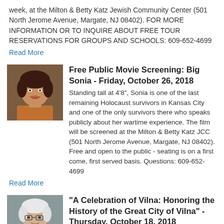week, at the Milton & Betty Katz Jewish Community Center (501 North Jerome Avenue, Margate, NJ 08402). FOR MORE INFORMATION OR TO INQUIRE ABOUT FREE TOUR RESERVATIONS FOR GROUPS AND SCHOOLS: 609-652-4699
Read More
[Figure (photo): Portrait photo of a woman with dark curly hair, wearing a colorful top, smiling]
Free Public Movie Screening: Big Sonia - Friday, October 26, 2018
Standing tall at 4'8", Sonia is one of the last remaining Holocaust survivors in Kansas City and one of the only survivors there who speaks publicly about her wartime experience. The film will be screened at the Milton & Betty Katz JCC (501 North Jerome Avenue, Margate, NJ 08402). Free and open to the public - seating is on a first come, first served basis. Questions: 609-652-4699
Read More
[Figure (photo): Portrait photo of an elderly woman with white hair and glasses, wearing a dark top]
"A Celebration of Vilna: Honoring the History of the Great City of Vilna" - Thursday, October 18, 2018